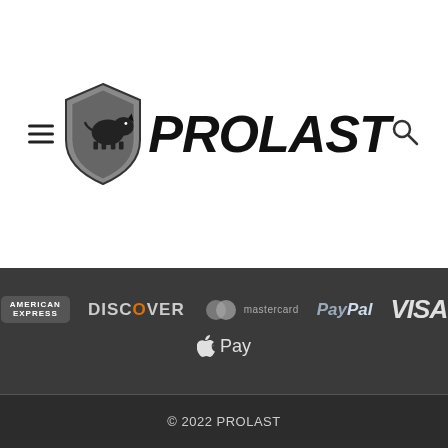[Figure (logo): PROLAST brand logo with rhino shield icon and bold italic text PROLAST]
[Figure (infographic): Payment method logos: American Express, Discover, Mastercard, PayPal, Visa, Apple Pay on dark background]
© 2022 PROLAST